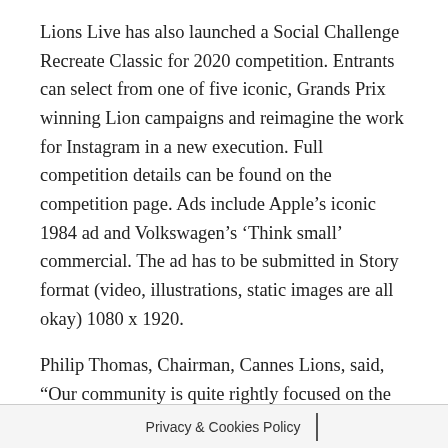Lions Live has also launched a Social Challenge Recreate Classic for 2020 competition. Entrants can select from one of five iconic, Grands Prix winning Lion campaigns and reimagine the work for Instagram in a new execution. Full competition details can be found on the competition page. Ads include Apple's iconic 1984 ad and Volkswagen's 'Think small' commercial. The ad has to be submitted in Story format (video, illustrations, static images are all okay) 1080 x 1920.
Philip Thomas, Chairman, Cannes Lions, said, “Our community is quite rightly focused on the future, towards what’s coming next. But Classic offers a chance to reflect on our shared creative history and to take inspiration from the business-driving creativity of the past. We welcome you to join us in our journey to complete this celebration of iconic creativity by submitting your work.”
The remake campaigns will be launched through Lions Live, in July 2020, and run throughout August, reaching the Cannes Lions community around the globe on Instagram. The best campaigns will be chosen for full Instagram features — where ‘You’ the creative will get to take over our stories to discuss work and take questions from the audience.
Privacy & Cookies Policy